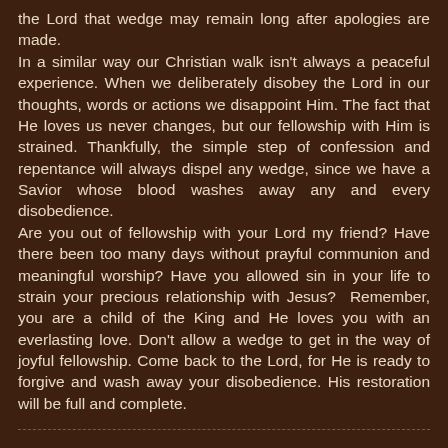the Lord that wedge may remain long after apologies are made.
In a similar way our Christian walk isn't always a peaceful experience. When we deliberately disobey the Lord in our thoughts, words or actions we disappoint Him. The fact that He loves us never changes, but our fellowship with Him is strained. Thankfully, the simple step of confession and repentance will always dispel any wedge, since we have a Savior whose blood washes away any and every disobedience.
Are you out of fellowship with your Lord my friend? Have there been too many days without prayful communion and meaningful worship? Have you allowed sin in your life to strain your precious relationship with Jesus? Remember, you are a child of the King and He loves you with an everlasting love. Don't allow a wedge to get in the way of joyful fellowship. Come back to the Lord, for He is ready to forgive and wash away your disobedience. His restoration will be full and complete.